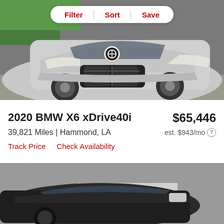[Figure (photo): Front view of a silver 2020 BMW X6 xDrive40i SUV in a parking lot, with a green vehicle visible in the background top-left]
Filter | Sort | Save
2020 BMW X6 xDrive40i
$65,446
39,821 Miles | Hammond, LA
est. $943/mo
Track Price   Check Availability
[Figure (photo): Front view of a dark-colored BMW X6 SUV, partially visible, with heart/save icon in top right]